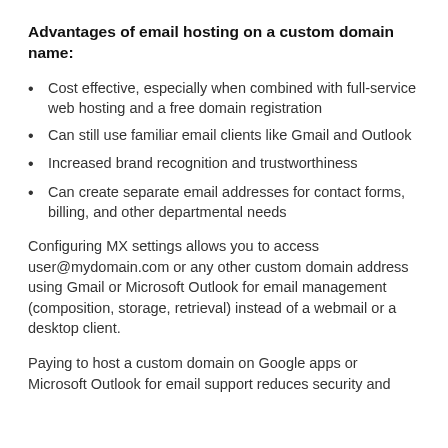Advantages of email hosting on a custom domain name:
Cost effective, especially when combined with full-service web hosting and a free domain registration
Can still use familiar email clients like Gmail and Outlook
Increased brand recognition and trustworthiness
Can create separate email addresses for contact forms, billing, and other departmental needs
Configuring MX settings allows you to access user@mydomain.com or any other custom domain address using Gmail or Microsoft Outlook for email management (composition, storage, retrieval) instead of a webmail or a desktop client.
Paying to host a custom domain on Google apps or Microsoft Outlook for email support reduces security and